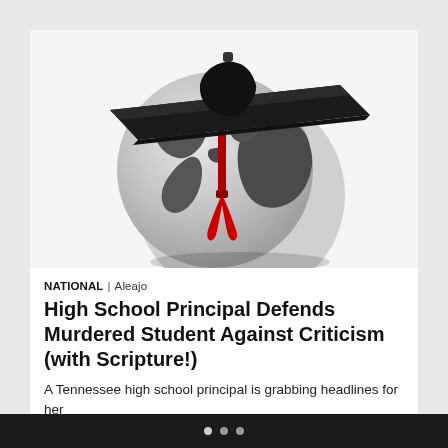[Figure (illustration): A graduation cap (mortarboard) with a red tassel placed on top of a globe/Earth, rendered in grayscale with the cap in black and the tassel in red. The globe shows continental outlines in dark gray against a light gray background.]
NATIONAL | Aleajo
High School Principal Defends Murdered Student Against Criticism (with Scripture!)
A Tennessee high school principal is grabbing headlines for her principal on behalf of her student whose life was t...